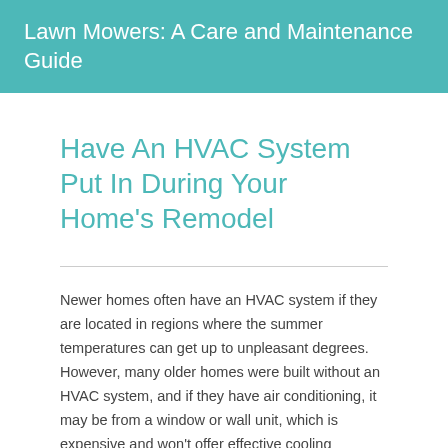Lawn Mowers: A Care and Maintenance Guide
Have An HVAC System Put In During Your Home's Remodel
Newer homes often have an HVAC system if they are located in regions where the summer temperatures can get up to unpleasant degrees. However, many older homes were built without an HVAC system, and if they have air conditioning, it may be from a window or wall unit, which is expensive and won't offer effective cooling throughout the home. Therefore, if you are